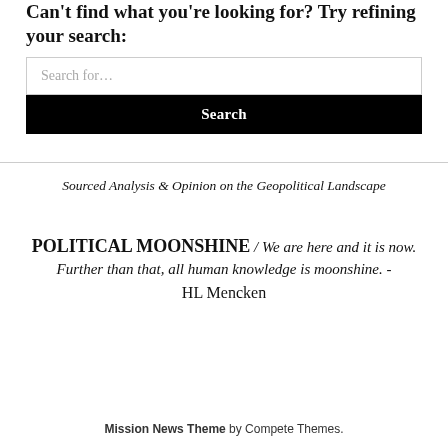Can't find what you're looking for? Try refining your search:
Search for…
Search
Sourced Analysis & Opinion on the Geopolitical Landscape
POLITICAL MOONSHINE / We are here and it is now. Further than that, all human knowledge is moonshine. - HL Mencken
Mission News Theme by Compete Themes.